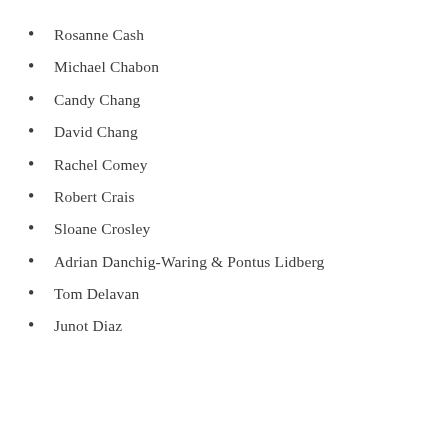Rosanne Cash
Michael Chabon
Candy Chang
David Chang
Rachel Comey
Robert Crais
Sloane Crosley
Adrian Danchig-Waring & Pontus Lidberg
Tom Delavan
Junot Diaz